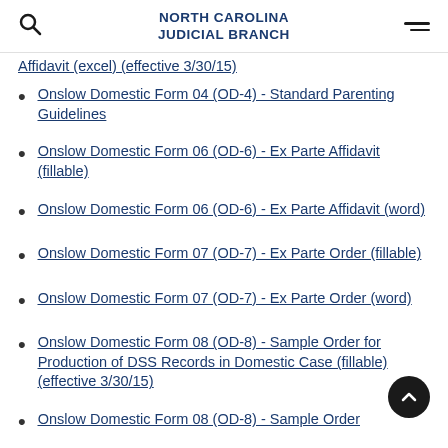NORTH CAROLINA JUDICIAL BRANCH
Affidavit (excel) (effective 3/30/15)
Onslow Domestic Form 04 (OD-4) - Standard Parenting Guidelines
Onslow Domestic Form 06 (OD-6) - Ex Parte Affidavit (fillable)
Onslow Domestic Form 06 (OD-6) - Ex Parte Affidavit (word)
Onslow Domestic Form 07 (OD-7) - Ex Parte Order (fillable)
Onslow Domestic Form 07 (OD-7) - Ex Parte Order (word)
Onslow Domestic Form 08 (OD-8) - Sample Order for Production of DSS Records in Domestic Case (fillable) (effective 3/30/15)
Onslow Domestic Form 08 (OD-8) - Sample Order